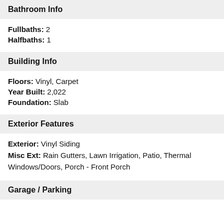Bathroom Info
Fullbaths: 2
Halfbaths: 1
Building Info
Floors: Vinyl, Carpet
Year Built: 2,022
Foundation: Slab
Exterior Features
Exterior: Vinyl Siding
Misc Ext: Rain Gutters, Lawn Irrigation, Patio, Thermal Windows/Doors, Porch - Front Porch
Garage / Parking